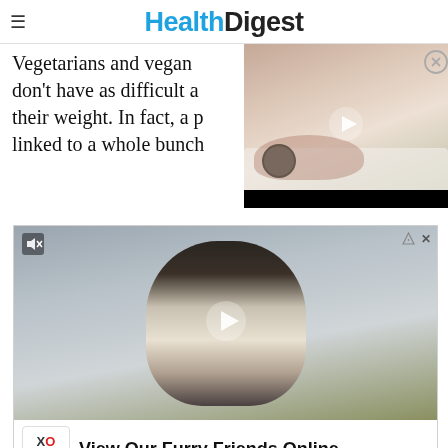HealthDigest
Vegetarians and vegans don't have as difficult a time managing their weight. In fact, a plant-based diet has been linked to a whole bunch of health benefits...
[Figure (photo): Floating video overlay showing a woman sleeping next to an alarm clock, with a play button in the center and a close (X) button in the top right corner]
[Figure (photo): Advertisement video showing a close-up of a black and white border collie dog looking at the camera, with a play button overlay, mute icon in top left, and ad controls (ad icon and X close button) in top right]
View Our Furry Friends Online
XO PUPS
Chantilly 12–8PM